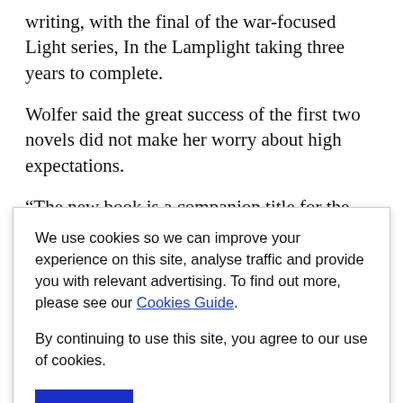writing, with the final of the war-focused Light series, In the Lamplight taking three years to complete.
Wolfer said the great success of the first two novels did not make her worry about high expectations.
“The new book is a companion title for the previous books,” she said. “It continues and fills out the
We use cookies so we can improve your experience on this site, analyse traffic and provide you with relevant advertising. To find out more, please see our Cookies Guide.

By continuing to use this site, you agree to our use of cookies.
CLOSE
Middleton beach.”